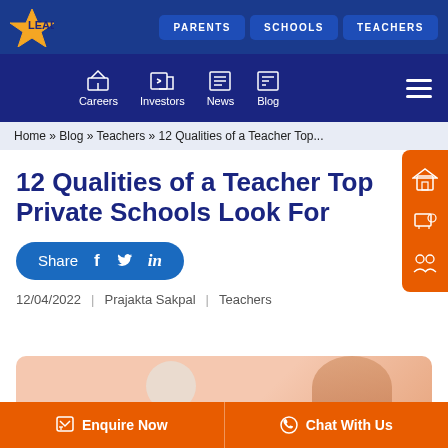LEAD | PARENTS | SCHOOLS | TEACHERS
Careers | Investors | News | Blog
Home » Blog » Teachers » 12 Qualities of a Teacher Top...
12 Qualities of a Teacher Top Private Schools Look For
Share
12/04/2022  |  Prajakta Sakpal  |  Teachers
[Figure (photo): Featured image showing a teacher at work]
Enquire Now  |  Chat With Us